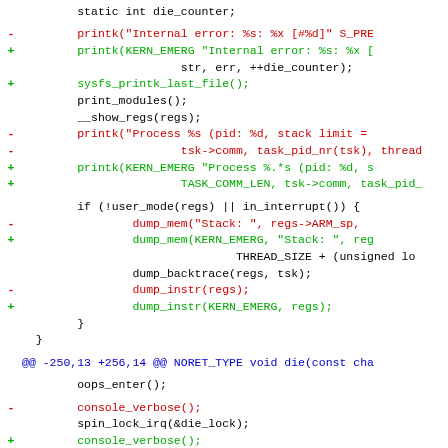[Figure (screenshot): A code diff showing changes to Linux kernel ARM die() function, with removed lines in red and added lines in green, and hunk headers in blue. The diff shows modifications to printk calls adding KERN_EMERG prefix, sysfs_printk_last_file(), and dump_mem/dump_instr parameter changes.]